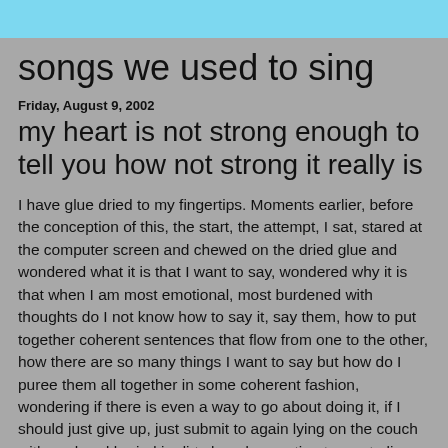songs we used to sing
Friday, August 9, 2002
my heart is not strong enough to tell you how not strong it really is
I have glue dried to my fingertips. Moments earlier, before the conception of this, the start, the attempt, I sat, stared at the computer screen and chewed on the dried glue and wondered what it is that I want to say, wondered why it is that when I am most emotional, most burdened with thoughts do I not know how to say it, say them, how to put together coherent sentences that flow from one to the other, how there are so many things I want to say but how do I puree them all together in some coherent fashion, wondering if there is even a way to go about doing it, if I should just give up, just submit to again lying on the couch with my head buried in dirty laundry wanting to cry, to lie next to someone, a certain someone, but knowing that that is not going to happen, just wanting to talk to someone about it, about him, maybe